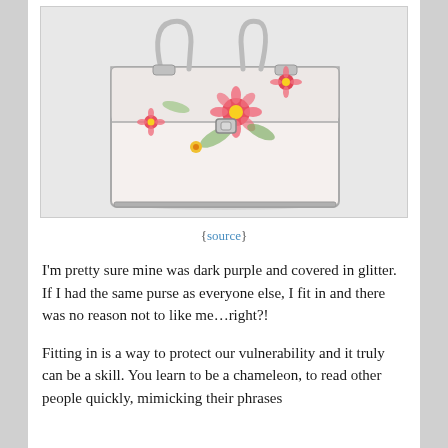[Figure (photo): A small rectangular handbag/purse with a translucent white body decorated with pink and red floral pattern and green leaves, with silver metal clasps and handle.]
{source}
I'm pretty sure mine was dark purple and covered in glitter. If I had the same purse as everyone else, I fit in and there was no reason not to like me…right?!
Fitting in is a way to protect our vulnerability and it truly can be a skill. You learn to be a chameleon, to read other people quickly, mimicking their phrases